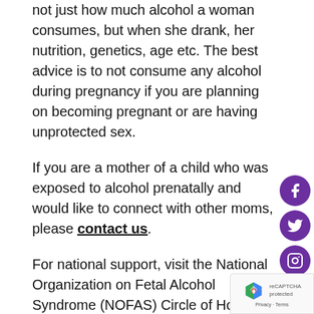not just how much alcohol a woman consumes, but when she drank, her nutrition, genetics, age etc. The best advice is to not consume any alcohol during pregnancy if you are planning on becoming pregnant or are having unprotected sex.
If you are a mother of a child who was exposed to alcohol prenatally and would like to connect with other moms, please contact us.
For national support, visit the National Organization on Fetal Alcohol Syndrome (NOFAS) Circle of Hope at http://www.nofas.org/circleofhope/. The Circle of Hope are groups where women with incredible strength join together to share their stories, shed the shame and support each other through the challenges of raising children with Fetal Alcohol Spectrum Disorders (FA...
“We do not know what, if any, amount of alcohol is safe,